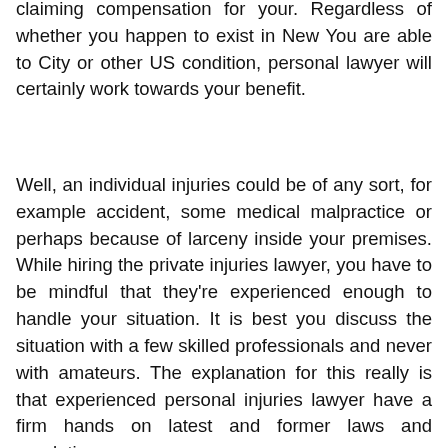claiming compensation for your. Regardless of whether you happen to exist in New You are able to City or other US condition, personal lawyer will certainly work towards your benefit.
Well, an individual injuries could be of any sort, for example accident, some medical malpractice or perhaps because of larceny inside your premises. While hiring the private injuries lawyer, you have to be mindful that they're experienced enough to handle your situation. It is best you discuss the situation with a few skilled professionals and never with amateurs. The explanation for this really is that experienced personal injuries lawyer have a firm hands on latest and former laws and regulations.